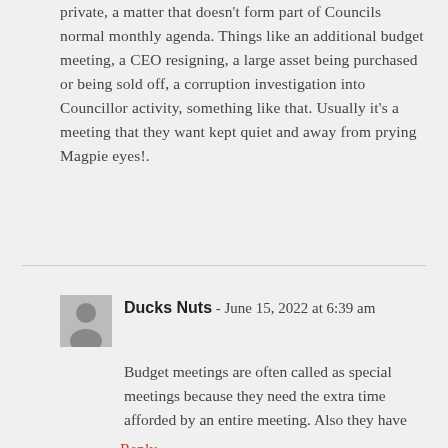private, a matter that doesn't form part of Councils normal monthly agenda. Things like an additional budget meeting, a CEO resigning, a large asset being purchased or being sold off, a corruption investigation into Councillor activity, something like that. Usually it's a meeting that they want kept quiet and away from prying Magpie eyes!.
Reply
Ducks Nuts - June 15, 2022 at 6:39 am
Budget meetings are often called as special meetings because they need the extra time afforded by an entire meeting. Also they have